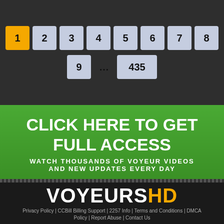[Figure (screenshot): Pagination controls showing page buttons 1 (active/gold), 2, 3, 4, 5, 6, 7, 8 in top row, then 9, ..., 435 in second row]
CLICK HERE TO GET FULL ACCESS
WATCH THOUSANDS OF VOYEUR VIDEOS AND NEW UPDATES EVERY DAY
VOYEURSHD
Privacy Policy | CCBill Billing Support | 2257 Info | Terms and Conditions | DMCA Policy | Report Abuse | Contact Us